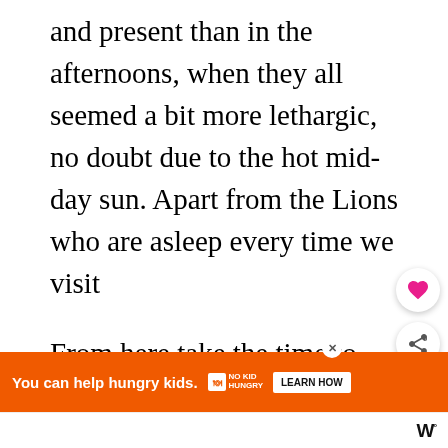and present than in the afternoons, when they all seemed a bit more lethargic, no doubt due to the hot mid-day sun. Apart from the Lions who are asleep every time we visit
From here take the time to wander round the Pangani Forest Trail. We did this for the first time on our recent visit and were blown away by how close we got to the gorillas and chimpanzees and many species of birds. We were able to watch the baby chimps feeding and spent quite some time watching the
[Figure (other): Floating UI action buttons: heart (favourite) button and share button, circular white buttons with shadows on the right side of the page]
[Figure (other): Whats Next card with circular thumbnail image and text: WHAT'S NEXT → Our Top Tips For Animal...]
[Figure (other): Orange advertisement banner: You can help hungry kids. No Kid Hungry logo. LEARN HOW button. Close X button. W logo bottom right.]